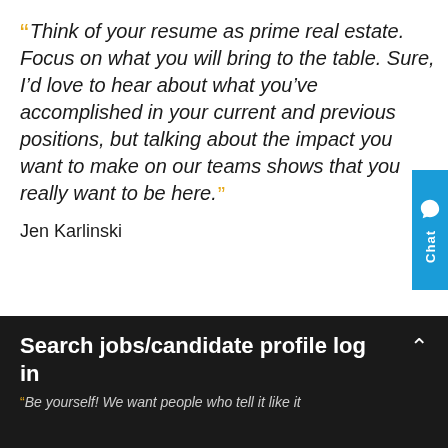“Think of your resume as prime real estate. Focus on what you will bring to the table. Sure, I’d love to hear about what you’ve accomplished in your current and previous positions, but talking about the impact you want to make on our teams shows that you really want to be here.”
Jen Karlinski
Search jobs/candidate profile log in
“Be yourself! We want people who tell it like it